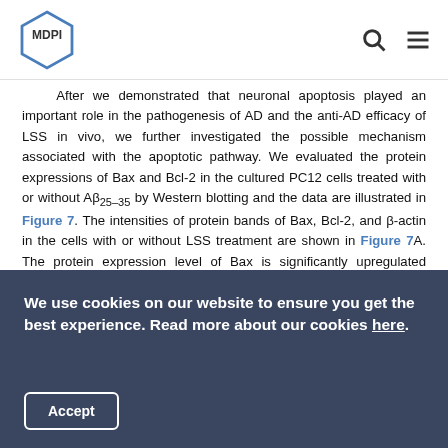MDPI
After we demonstrated that neuronal apoptosis played an important role in the pathogenesis of AD and the anti-AD efficacy of LSS in vivo, we further investigated the possible mechanism associated with the apoptotic pathway. We evaluated the protein expressions of Bax and Bcl-2 in the cultured PC12 cells treated with or without Aβ25–35 by Western blotting and the data are illustrated in Figure 7. The intensities of protein bands of Bax, Bcl-2, and β-actin in the cells with or without LSS treatment are shown in Figure 7A. The protein expression level of Bax is significantly upregulated (Figure 7A,B), while the protein expression level of Bcl-2 is significantly downregulated (Figure 7A,C) in the PC12 cells treated with
We use cookies on our website to ensure you get the best experience. Read more about our cookies here.
Accept